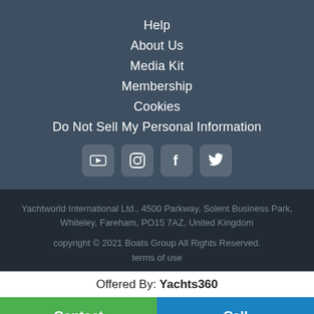Help
About Us
Media Kit
Membership
Cookies
Do Not Sell My Personal Information
[Figure (other): Social media icons: YouTube, Instagram, Facebook, Twitter]
Yachtworld International Ltd., 4500 Parkway, Solent Business Park, Whiteley, Fareham, PO15 7AZ, United Kingdom
copyright © 2021 Boats Group All Rights Reserved.
terms of use
Offered By: Yachts360
Contact
Call